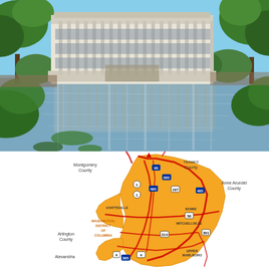[Figure (photo): Photograph of a large white modernist government building reflected in a calm body of water, surrounded by green trees and vegetation. The building has a rectangular form with vertical columns and appears to be several stories tall.]
[Figure (map): Map of Prince George's County, Maryland and surrounding region showing major highways and neighboring jurisdictions including Montgomery County, Howard County, Anne Arundel County, Arlington County, and Washington District of Columbia. Cities labeled include Hyattsville, Mitchellville, Upper Marlboro, and Alexandria. Major routes shown include I-95, I-495, US-50, MD-214, MD-4, MD-301, MD-295, and others. The county area is shaded in orange/yellow.]